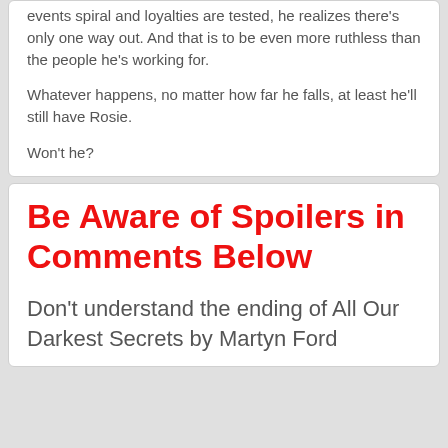events spiral and loyalties are tested, he realizes there’s only one way out. And that is to be even more ruthless than the people he’s working for.
Whatever happens, no matter how far he falls, at least he’ll still have Rosie.
Won’t he?
Be Aware of Spoilers in Comments Below
Don’t understand the ending of All Our Darkest Secrets by Martyn Ford